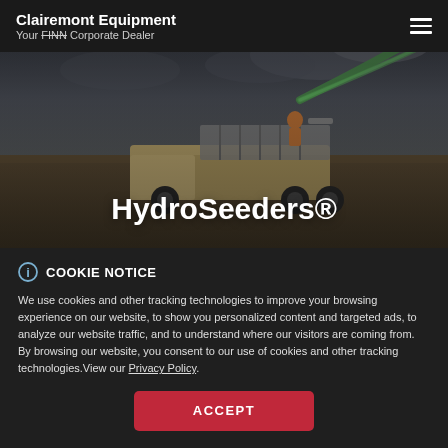Clairemont Equipment
Your FINN Corporate Dealer
[Figure (photo): A hydroseeder truck in an agricultural field with a green spray jet shooting from the machine, operators visible, dark cloudy sky background.]
HydroSeeders®
COOKIE NOTICE
We use cookies and other tracking technologies to improve your browsing experience on our website, to show you personalized content and targeted ads, to analyze our website traffic, and to understand where our visitors are coming from. By browsing our website, you consent to our use of cookies and other tracking technologies.View our Privacy Policy.
ACCEPT